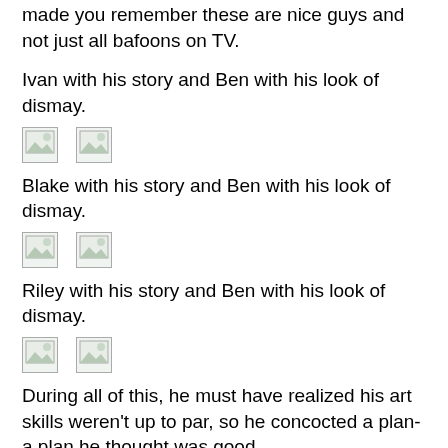made you remember these are nice guys and not just all bafoons on TV.
Ivan with his story and Ben with his look of dismay.
[Figure (photo): Two broken image placeholders side by side]
Blake with his story and Ben with his look of dismay.
[Figure (photo): Two broken image placeholders side by side]
Riley with his story and Ben with his look of dismay.
[Figure (photo): Two broken image placeholders side by side]
During all of this, he must have realized his art skills weren't up to par, so he concocted a plan-a plan he thought was good.